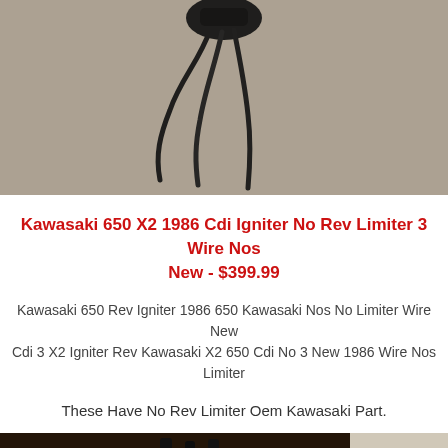[Figure (photo): Close-up photo of black wires/cables against a gray/beige textured background, with a dark connector or component visible at the top]
Kawasaki 650 X2 1986 Cdi Igniter No Rev Limiter 3 Wire Nos New - $399.99
Kawasaki 650 Rev Igniter 1986 650 Kawasaki Nos No Limiter Wire New Cdi 3 X2 Igniter Rev Kawasaki X2 650 Cdi No 3 New 1986 Wire Nos Limiter
These Have No Rev Limiter Oem Kawasaki Part.
[Figure (photo): Bottom partial photo showing dark brown/black surface, possibly a table or surface with the part]